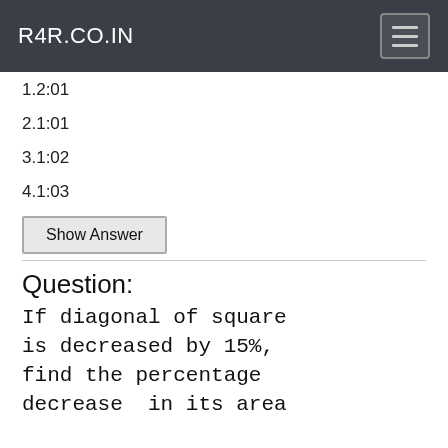R4R.CO.IN
1.2:01
2.1:01
3.1:02
4.1:03
Show Answer
Question:
If diagonal of square is decreased by 15%, find the percentage decrease in its area